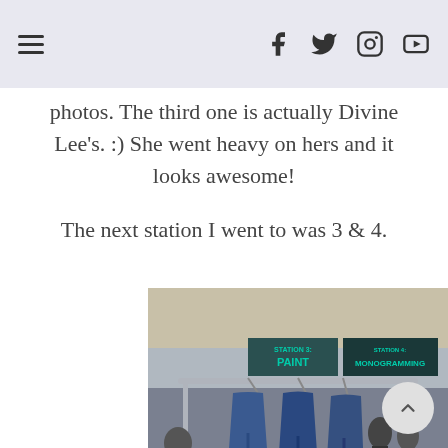Navigation header with hamburger menu and social icons (Facebook, Twitter, Instagram, YouTube)
photos. The third one is actually Divine Lee's. :) She went heavy on hers and it looks awesome!
The next station I went to was 3 & 4.
[Figure (photo): Photo inside a mall showing a clothing rack with jeans hanging from it, station signs reading 'STATION 3: PAINT' and 'STATION 4: MONOGRAMMING' visible in the background, with a crowd of people and mall interior visible.]